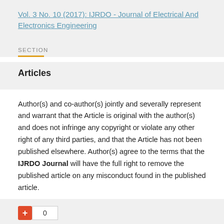Vol. 3 No. 10 (2017): IJRDO - Journal of Electrical And Electronics Engineering
SECTION
Articles
Author(s) and co-author(s) jointly and severally represent and warrant that the Article is original with the author(s) and does not infringe any copyright or violate any other right of any third parties, and that the Article has not been published elsewhere. Author(s) agree to the terms that the IJRDO Journal will have the full right to remove the published article on any misconduct found in the published article.